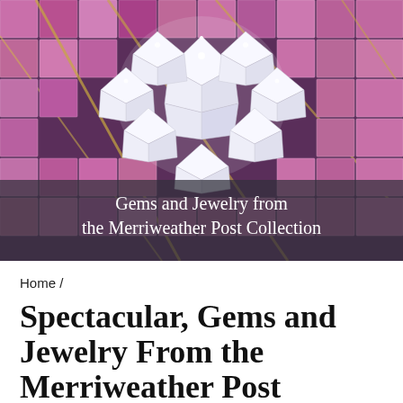[Figure (illustration): Painting/illustration of a large cluster of brilliant-cut diamonds surrounded by rows of pink/purple square-cut gemstones set in gold, viewed from below. Overlaid with a semi-transparent dark band containing the text 'Gems and Jewelry from the Merriweather Post Collection'.]
Home /
Spectacular, Gems and Jewelry From the Merriweather Post Collection